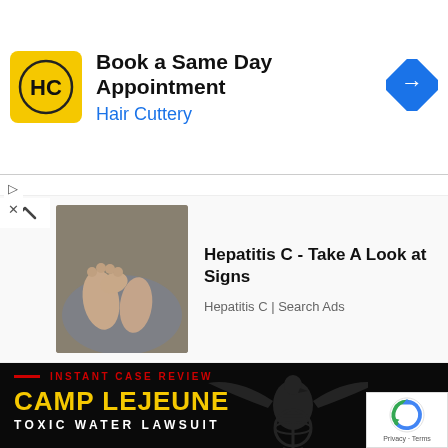[Figure (screenshot): Hair Cuttery advertisement banner with yellow HC logo, bold text 'Book a Same Day Appointment' and blue text 'Hair Cuttery', with blue navigation arrow diamond icon on right]
▷
×
[Figure (screenshot): Hepatitis C medical advertisement with a photo of person holding feet, titled 'Hepatitis C - Take A Look at Signs', source 'Hepatitis C | Search Ads']
[Figure (infographic): Camp Lejeune Toxic Water Lawsuit advertisement on black background with US Marine Corps emblem eagle globe and anchor, red dash and red text 'INSTANT CASE REVIEW', large yellow text 'CAMP LEJEUNE', white text 'TOXIC WATER LAWSUIT']